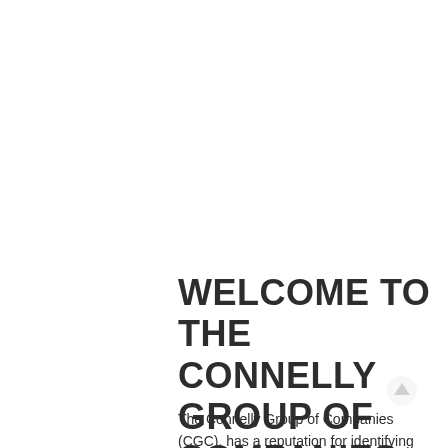WELCOME TO THE CONNELLY GROUP OF COMPANIES
The Connelly Group of Companies (CGC), has a reputation for identifying opportunities, then quickly developing and executing